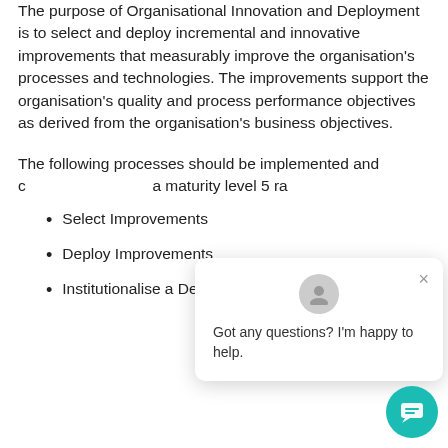The purpose of Organisational Innovation and Deployment is to select and deploy incremental and innovative improvements that measurably improve the organisation's processes and technologies. The improvements support the organisation's quality and process performance objectives as derived from the organisation's business objectives.
The following processes should be implemented and contribute to achieving a maturity level 5 rating:
Select Improvements
Deploy Improvements
Institutionalise a Defined Process
[Figure (other): Chat popup overlay with avatar icon, close button (×), and message text 'Got any questions? I'm happy to help.' along with a teal circular chat button in the bottom-right corner.]